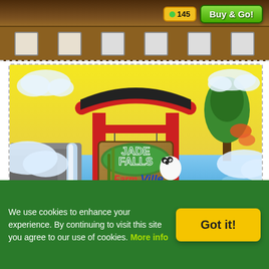[Figure (screenshot): Top banner showing a game store interface with 'Buy & Go!' button and price tag]
[Figure (screenshot): FarmVille Jade Falls promotional splash screen showing a Japanese torii gate with a sign reading 'Jade Falls FarmVille' by Zynga, with a panda, waterfall, fish, and Asian-themed scenery]
We use cookies to enhance your experience. By continuing to visit this site you agree to our use of cookies. More info
[Figure (other): Got it! cookie consent button]